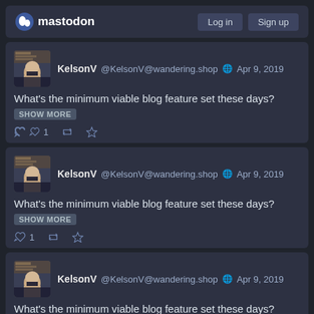[Figure (screenshot): Mastodon navigation bar with Log in and Sign up buttons]
KelsonV @KelsonV@wandering.shop Apr 9, 2019
What's the minimum viable blog feature set these days? SHOW MORE
↩ 1 🔁 ★
KelsonV @KelsonV@wandering.shop Apr 9, 2019
What's the minimum viable blog feature set these days? SHOW MORE
↩ 1 🔁 ★
KelsonV @KelsonV@wandering.shop Apr 9, 2019
What's the minimum viable blog feature set these days? SHOW MORE
↩ 1 🔁 ★